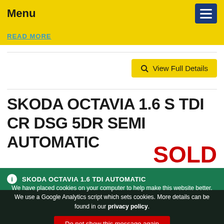Menu
READ MORE
View Full Details
SKODA OCTAVIA 1.6 S TDI CR DSG 5DR SEMI AUTOMATIC
SOLD
SKODA OCTAVIA 1.6 TDI AUTOMATIC
We have placed cookies on your computer to help make this website better. We use a Google Analytics script which sets cookies. More details can be found in our privacy policy.
Do not show this message again